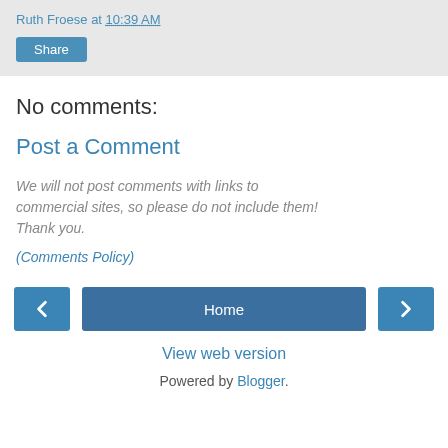Ruth Froese at 10:39 AM
Share
No comments:
Post a Comment
We will not post comments with links to commercial sites, so please do not include them! Thank you.
(Comments Policy)
Home
View web version
Powered by Blogger.